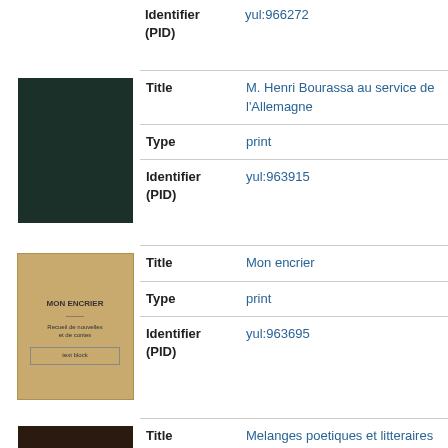Identifier (PID)    yul:966272
[Figure (photo): Dark green book cover thumbnail]
Title    M. Henri Bourassa au service de l'Allemagne
Type    print
Identifier (PID)    yul:963915
[Figure (photo): Tan/beige book cover thumbnail with text]
Title    Mon encrier
Type    print
Identifier (PID)    yul:963695
[Figure (photo): Dark red/brown book cover thumbnail]
Title    Melanges poetiques et litteraires